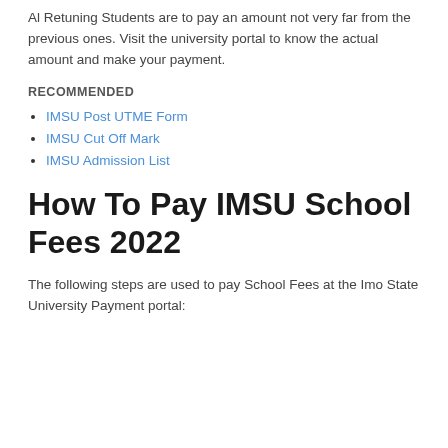Al Retuning Students are to pay an amount not very far from the previous ones. Visit the university portal to know the actual amount and make your payment.
RECOMMENDED
IMSU Post UTME Form
IMSU Cut Off Mark
IMSU Admission List
How To Pay IMSU School Fees 2022
The following steps are used to pay School Fees at the Imo State University Payment portal: